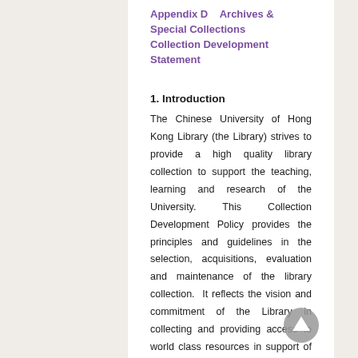Appendix D    Archives & Special Collections Collection Development Statement
1. Introduction
The Chinese University of Hong Kong Library (the Library) strives to provide a high quality library collection to support the teaching, learning and research of the University. This Collection Development Policy provides the principles and guidelines in the selection, acquisitions, evaluation and maintenance of the library collection.  It reflects the vision and commitment of the Library in collecting and providing access to world class resources in support of the University's priorities. Supplemental Faculty level collection development statements ensure a nuanced policy building a relevant collection that supports 21st century learning, research and scholarly communication. Together these serves as a communication